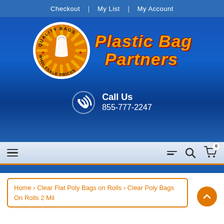Checkout | My List | My Account
[Figure (logo): Quality Bags Wholesale Prices circular logo with orange background and white bag icon, alongside 'Plastic Bag Partners' brand text in italic gold/orange letters with red shadow on blue background. Call Us 855-777-2247 with phone icon.]
Navigation bar with hamburger menu, filter icon, search icon, and cart with 0 items
Home › Clear Flat Poly Bags on Rolls › Clear Poly Bags On Rolls 2 Mil